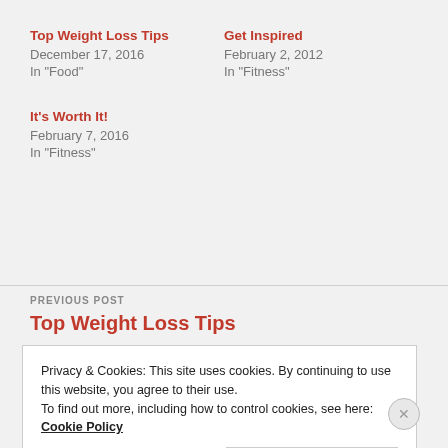Top Weight Loss Tips
December 17, 2016
In "Food"
Get Inspired
February 2, 2012
In "Fitness"
It's Worth It!
February 7, 2016
In "Fitness"
PREVIOUS POST
Top Weight Loss Tips
Privacy & Cookies: This site uses cookies. By continuing to use this website, you agree to their use. To find out more, including how to control cookies, see here: Cookie Policy
Close and accept